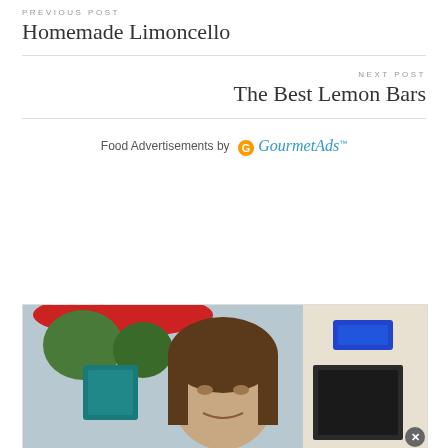PREVIOUS POST
Homemade Limoncello
NEXT POST
The Best Lemon Bars
Food Advertisements by GourmetAds™
[Figure (photo): A smiling young woman with brown hair outdoors near a red umbrella and green trees, with a sign visible in the background.]